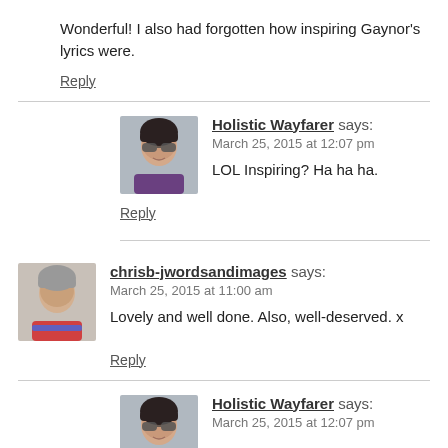Wonderful! I also had forgotten how inspiring Gaynor's lyrics were.
Reply
Holistic Wayfarer says:
March 25, 2015 at 12:07 pm
LOL Inspiring? Ha ha ha.
Reply
chrisb-jwordsandimages says:
March 25, 2015 at 11:00 am
Lovely and well done. Also, well-deserved. x
Reply
Holistic Wayfarer says:
March 25, 2015 at 12:07 pm